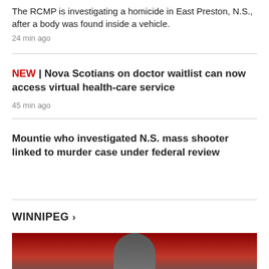The RCMP is investigating a homicide in East Preston, N.S., after a body was found inside a vehicle.
24 min ago
NEW | Nova Scotians on doctor waitlist can now access virtual health-care service
45 min ago
Mountie who investigated N.S. mass shooter linked to murder case under federal review
WINNIPEG >
[Figure (photo): Photo of a person against a red background, partially visible at the bottom of the page.]